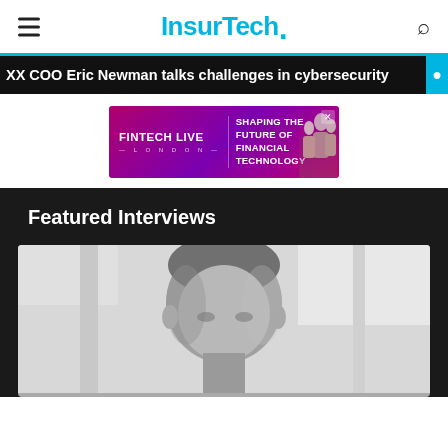InsurTech.
XX COO Eric Newman talks challenges in cybersecurity
[Figure (infographic): FINTECH LIVE LONDON — SHAPING THE FUTURE OF FINANCIAL TECHNOLOGY advertisement banner with purple/magenta gradient background and people images]
Featured Interviews
[Figure (photo): Black and white portrait photo of a middle-aged man, head and shoulders visible, light background]